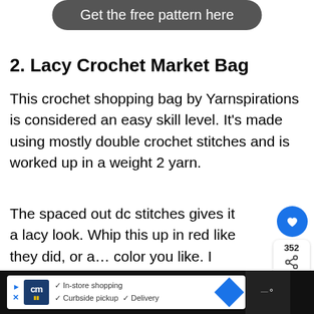[Figure (other): Dark rounded button with text 'Get the free pattern here']
2. Lacy Crochet Market Bag
This crochet shopping bag by Yarnspirations is considered an easy skill level. It's made using mostly double crochet stitches and is worked up in a weight 2 yarn.
The spaced out dc stitches gives it a lacy look. Whip this up in red like they did, or any color you like. I think this would look pretty in an off-white yarn.
[Figure (other): Social share overlay with heart button (352 count) and share icon, plus 'WHAT'S NEXT' panel with '15 Crochet Christmas...' label]
[Figure (other): Advertisement bar at bottom showing CM store logo with 'In-store shopping', 'Curbside pickup', 'Delivery' checkmarks and navigation icons]